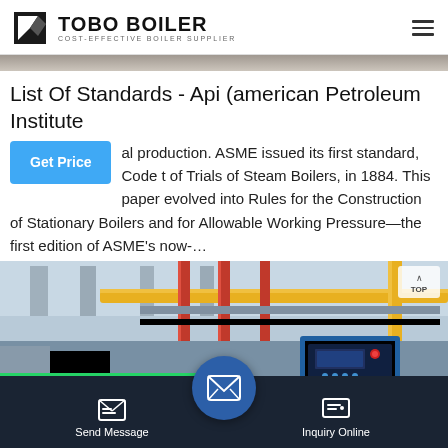TOBO BOILER — COST-EFFECTIVE BOILER SUPPLIER
List Of Standards - Api (american Petroleum Institute
al production. ASME issued its first standard, Code t of Trials of Steam Boilers, in 1884. This paper evolved into Rules for the Construction of Stationary Boilers and for Allowable Working Pressure—the first edition of ASME's now-…
[Figure (photo): Interior of a boiler room with yellow and red pipes, industrial equipment and control panels]
Send Message | Inquiry Online